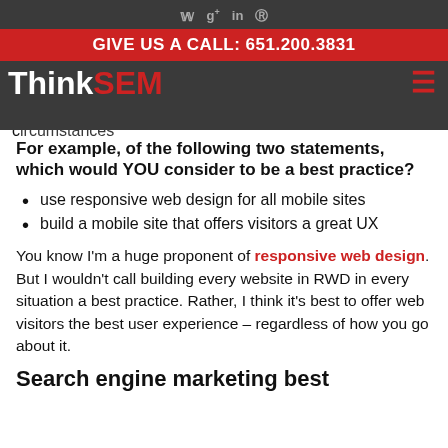GIVE US A CALL: 651.200.3831 | ThinkSEM
some people are wont to use it in very specific circumstances
For example, of the following two statements, which would YOU consider to be a best practice?
use responsive web design for all mobile sites
build a mobile site that offers visitors a great UX
You know I'm a huge proponent of responsive web design. But I wouldn't call building every website in RWD in every situation a best practice. Rather, I think it's best to offer web visitors the best user experience – regardless of how you go about it.
Search engine marketing best